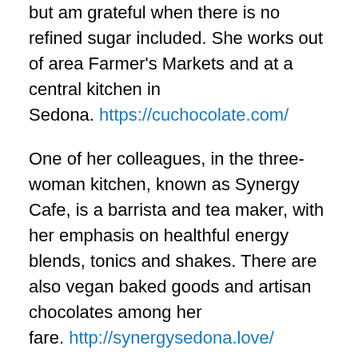but am grateful when there is no refined sugar included. She works out of area Farmer's Markets and at a central kitchen in Sedona. https://cuchocolate.com/
One of her colleagues, in the three-woman kitchen, known as Synergy Cafe, is a barrista and tea maker, with her emphasis on healthful energy blends, tonics and shakes. There are also vegan baked goods and artisan chocolates among her fare. http://synergysedona.love/
Here in Prescott, another health-conscious lady has a fully-operational kitchen, called Ms. Natural's. The emphasis here is on artisan sandwiches, muesli, and a variety of tonics, lattes and shakes. There are mostly vegan and vegetarian offerings. https://www.msnaturalsprescott.com/
The most recent of the businesses I am patronizing is